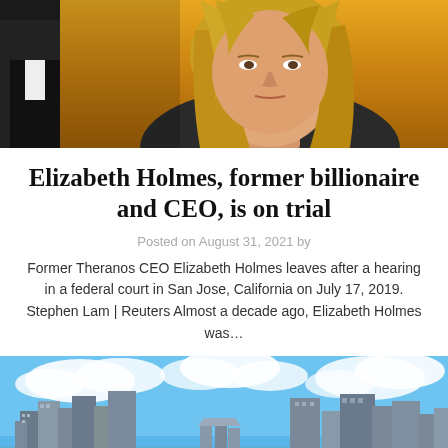[Figure (photo): Close-up photo of a blonde woman with a serious expression, in front of an orange/yellow background, with a man in dark suit partially visible to the left]
Elizabeth Holmes, former billionaire and CEO, is on trial
Posted on August 31, 2021 by
Former Theranos CEO Elizabeth Holmes leaves after a hearing in a federal court in San Jose, California on July 17, 2019. Stephen Lam | Reuters Almost a decade ago, Elizabeth Holmes was…
[Figure (photo): Panoramic cityscape photo showing a modern city skyline with tall skyscrapers, a blue sky with white clouds, and waterfront in the background]